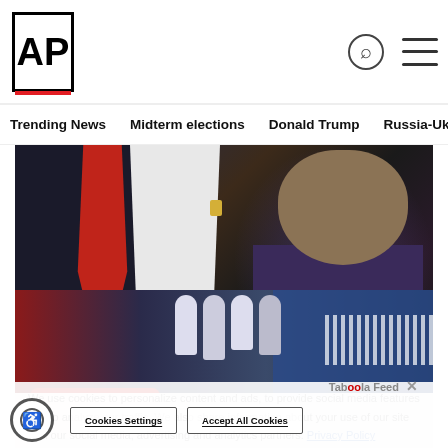AP
Trending News  Midterm elections  Donald Trump  Russia-Ukr
[Figure (photo): Close-up photo of a man in a dark suit with a red tie and gold lapel pin; another man in a white shirt and purple tie visible at right, with purple background lighting]
We use cookies to personalize content and ads, to provide social media features and to analyze our traffic. We also share information about your use of our site with our social media, advertising and analytics partners. Privacy Policy
Taboola Feed
[Figure (photo): Forensic investigators in white hazmat suits at a crime scene near a red car with a blue tent and fence in the background]
Cookies Settings    Accept All Cookies